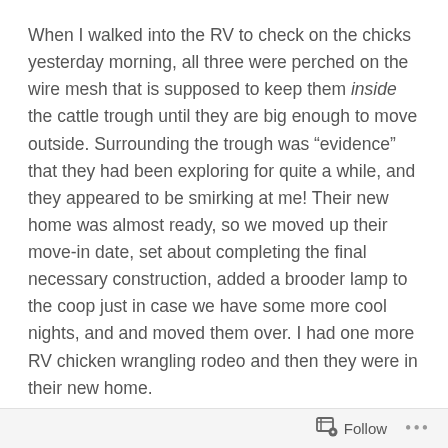When I walked into the RV to check on the chicks yesterday morning, all three were perched on the wire mesh that is supposed to keep them inside the cattle trough until they are big enough to move outside.  Surrounding the trough was “evidence” that they had been exploring for quite a while, and they appeared to be smirking at me!   Their new home was almost ready, so we moved up their move-in date, set about completing the final necessary construction, added a brooder lamp to the coop just in case we have some more cool nights, and and moved them over.  I had one more RV chicken wrangling rodeo and then they were in their new home.
We’d expected them to be nervous, but they immediately started exploring and searching for motivational meal-worms.   Within half an hour, they were climbing on their
Follow ...